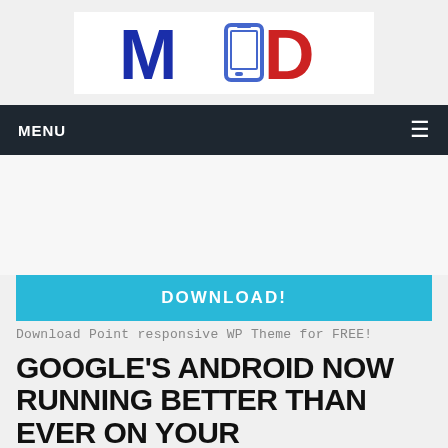[Figure (logo): MOD logo with blue M, smartphone icon, and red D on white background]
MENU ≡
[Figure (other): Advertisement/blank space area]
DOWNLOAD!
Download Point responsive WP Theme for FREE!
GOOGLE'S ANDROID NOW RUNNING BETTER THAN EVER ON YOUR